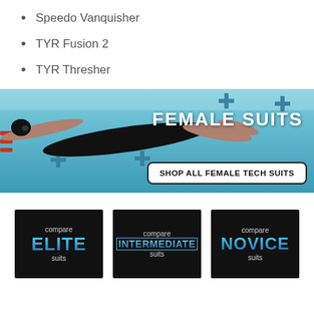Speedo Vanquisher
TYR Fusion 2
TYR Thresher
[Figure (photo): Female swimmer underwater in a pool, swimming butterfly stroke. Text overlay reads 'FEMALE SUITS' with a button 'SHOP ALL FEMALE TECH SUITS'.]
[Figure (infographic): Three black cards side by side: 'compare ELITE suits', 'compare INTERMEDIATE suits', 'compare NOVICE suits']